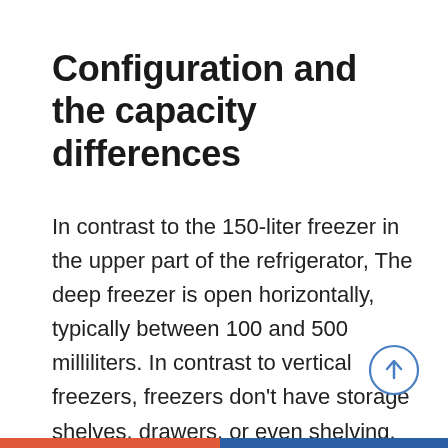Configuration and the capacity differences
In contrast to the 150-liter freezer in the upper part of the refrigerator, The deep freezer is open horizontally, typically between 100 and 500 milliliters. In contrast to vertical freezers, freezers don't have storage shelves, drawers, or even shelving. This makes it harder to organize and locate items; however, it makes them better suited to storing massive items, such